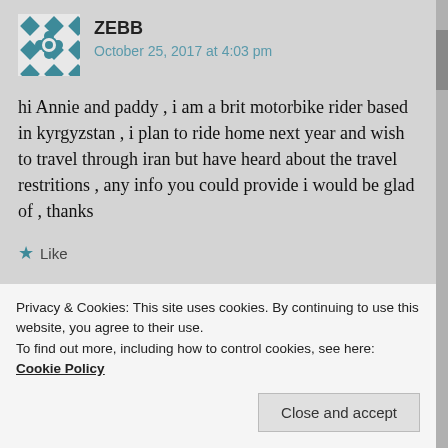[Figure (illustration): Avatar image: teal and white geometric/quilt pattern square avatar for user ZEBB]
ZEBB
October 25, 2017 at 4:03 pm
hi Annie and paddy , i am a brit motorbike rider based in kyrgyzstan , i plan to ride home next year and wish to travel through iran but have heard about the travel restritions , any info you could provide i would be glad of , thanks
★ Like
↪ Reply
Privacy & Cookies: This site uses cookies. By continuing to use this website, you agree to their use.
To find out more, including how to control cookies, see here: Cookie Policy
Close and accept